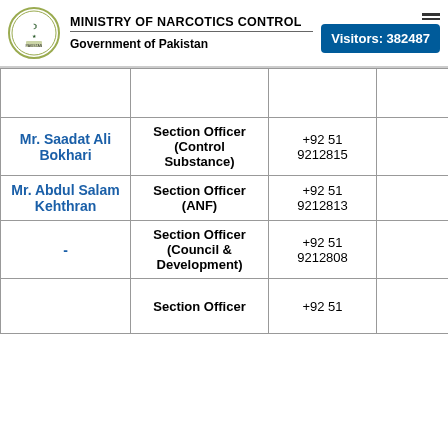MINISTRY OF NARCOTICS CONTROL Government of Pakistan Visitors: 382487
| Name | Designation | Phone |  |
| --- | --- | --- | --- |
|  |  |  |  |
| Mr. Saadat Ali Bokhari | Section Officer (Control Substance) | +92 51 9212815 |  |
| Mr. Abdul Salam Kehthran | Section Officer (ANF) | +92 51 9212813 |  |
| - | Section Officer (Council & Development) | +92 51 9212808 |  |
|  | Section Officer | +92 51 |  |